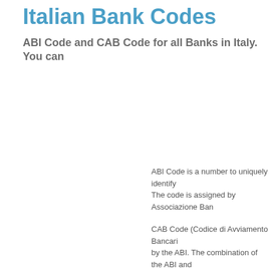Italian Bank Codes
ABI Code and CAB Code for all Banks in Italy. You can...
ABI Code is a number to uniquely identify... The code is assigned by Associazione Ban...
CAB Code (Codice di Avviamento Bancari... by the ABI. The combination of the ABI and...
Both ABI Code and CAB Code are also pa...
Siracusa, SR